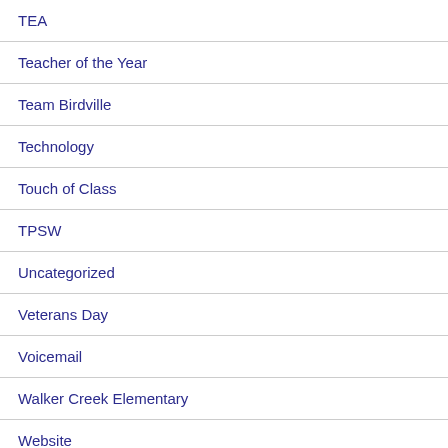TEA
Teacher of the Year
Team Birdville
Technology
Touch of Class
TPSW
Uncategorized
Veterans Day
Voicemail
Walker Creek Elementary
Website